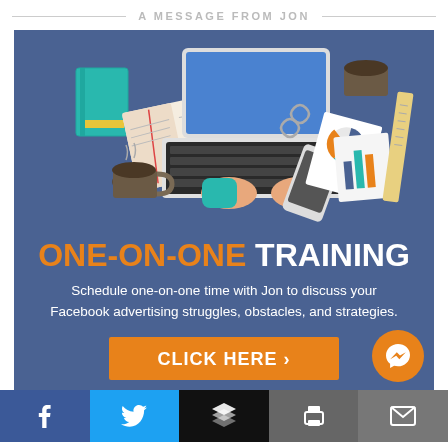A MESSAGE FROM JON
[Figure (illustration): Flat design illustration of a desk workspace from top view: laptop with hands typing, open notebook/book, teal notebook, coffee cup, papers with charts, smartphone, ruler, paper clips on a blue-purple background]
ONE-ON-ONE TRAINING
Schedule one-on-one time with Jon to discuss your Facebook advertising struggles, obstacles, and strategies.
CLICK HERE ›
[Figure (logo): Orange circular Facebook Messenger icon button]
[Figure (infographic): Social sharing bar with Facebook, Twitter, Buffer, Print, and Email buttons]